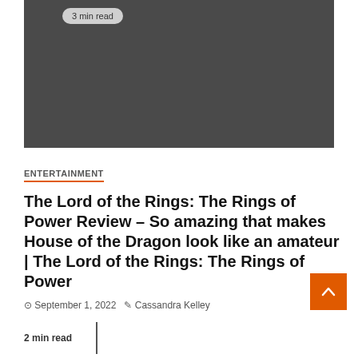[Figure (photo): Dark gray image placeholder for article hero image with '3 min read' badge overlay]
ENTERTAINMENT
The Lord of the Rings: The Rings of Power Review – So amazing that makes House of the Dragon look like an amateur | The Lord of the Rings: The Rings of Power
September 1, 2022   Cassandra Kelley
2 min read